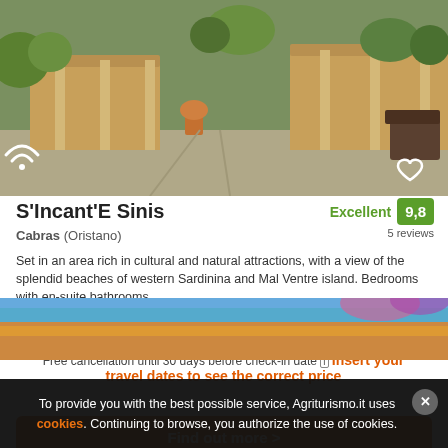[Figure (photo): Exterior photo of S'Incant'E Sinis agriturismo showing courtyard, garden, terrace and outdoor furniture]
S'Incant'E Sinis
Cabras (Oristano)
Excellent 9,8
5 reviews
Set in an area rich in cultural and natural attractions, with a view of the splendid beaches of western Sardinina and Mal Ventre island. Bedrooms with en-suite bathrooms.
Free cancellation until 30 days before check-in date ℹ Insert your travel dates to see the correct price
Find out more >
[Figure (photo): Partial view of another property listing — orange roof tiles under blue sky with flowers]
To provide you with the best possible service, Agriturismo.it uses cookies. Continuing to browse, you authorize the use of cookies.